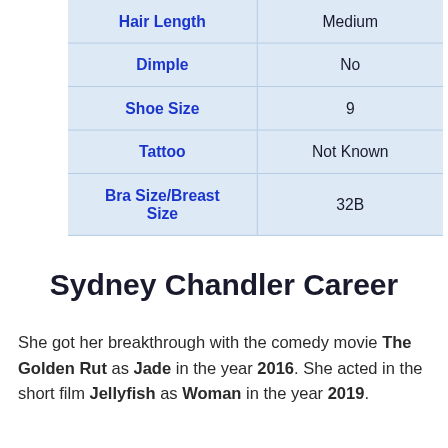| Attribute | Value |
| --- | --- |
| Hair Length | Medium |
| Dimple | No |
| Shoe Size | 9 |
| Tattoo | Not Known |
| Bra Size/Breast Size | 32B |
Sydney Chandler Career
She got her breakthrough with the comedy movie The Golden Rut as Jade in the year 2016. She acted in the short film Jellyfish as Woman in the year 2019.